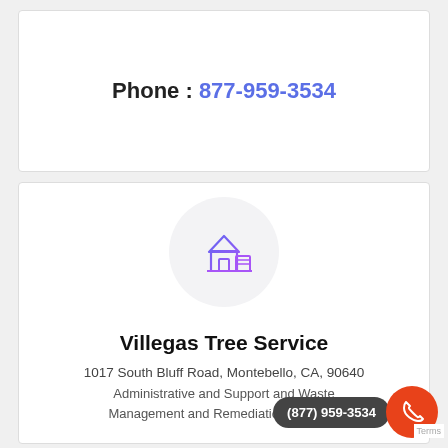Phone : 877-959-3534
[Figure (illustration): House and building icon inside a light gray circle, rendered in purple-blue gradient style]
Villegas Tree Service
1017 South Bluff Road, Montebello, CA, 90640
Administrative and Support and Waste Management and Remediation Services
(877) 959-3534